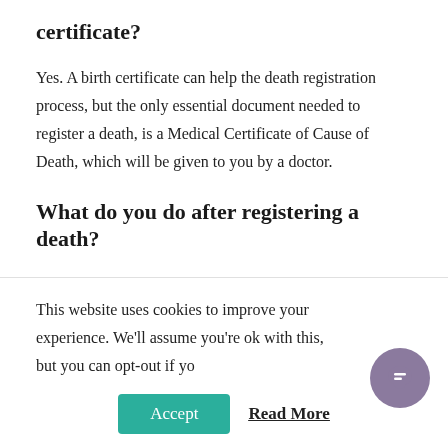certificate?
Yes. A birth certificate can help the death registration process, but the only essential document needed to register a death, is a Medical Certificate of Cause of Death, which will be given to you by a doctor.
What do you do after registering a death?
The deceased's Will, property and finances can be handled once the death certificate has arrived and you will be able to lay your loved one to rest when the Certificate for Burial
This website uses cookies to improve your experience. We'll assume you're ok with this, but you can opt-out if you